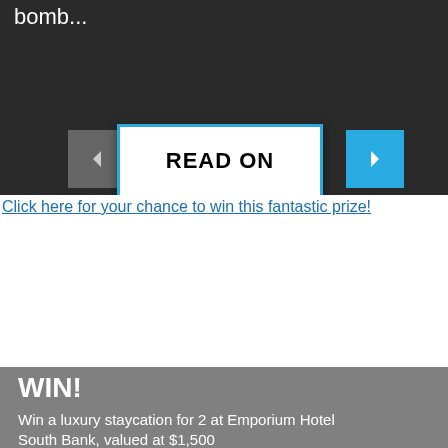bomb...
[Figure (screenshot): Dark navigation UI with left arrow button (grey), READ ON button (white with blue border), and right arrow button (blue)]
Click here for your chance to win this fantastic prize!
WIN!
Win a luxury staycation for 2 at Emporium Hotel South Bank, valued at $1,500